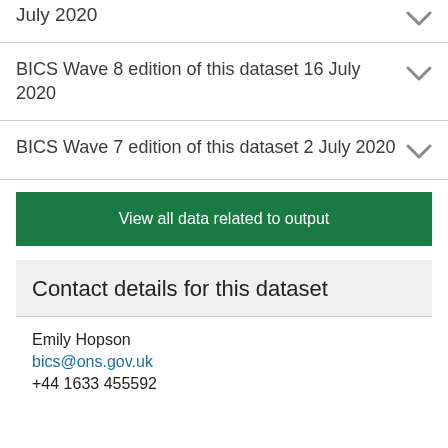July 2020
BICS Wave 8 edition of this dataset 16 July 2020
BICS Wave 7 edition of this dataset 2 July 2020
View all data related to output
Contact details for this dataset
Emily Hopson
bics@ons.gov.uk
+44 1633 455592